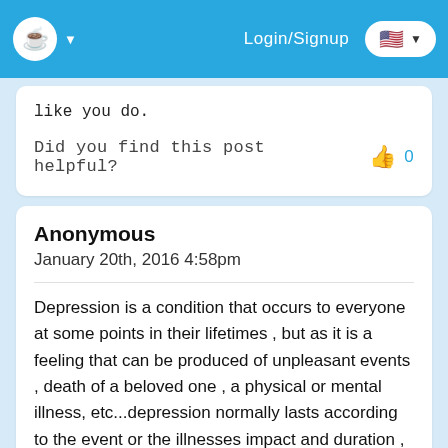Login/Signup
like you do.
Did you find this post helpful? 0
Anonymous
January 20th, 2016 4:58pm
Depression is a condition that occurs to everyone at some points in their lifetimes , but as it is a feeling that can be produced of unpleasant events , death of a beloved one , a physical or mental illness, etc...depression normally lasts according to the event or the illnesses impact and duration , but then its impact subsides gradually as the person feels